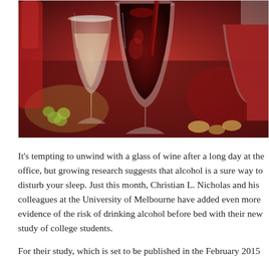[Figure (photo): Photo of wine glasses being filled with red wine, with grapes and corks in the background]
It's tempting to unwind with a glass of wine after a long day at the office, but growing research suggests that alcohol is a sure way to disturb your sleep. Just this month, Christian L. Nicholas and his colleagues at the University of Melbourne have added even more evidence of the risk of drinking alcohol before bed with their new study of college students.
For their study, which is set to be published in the February 2015